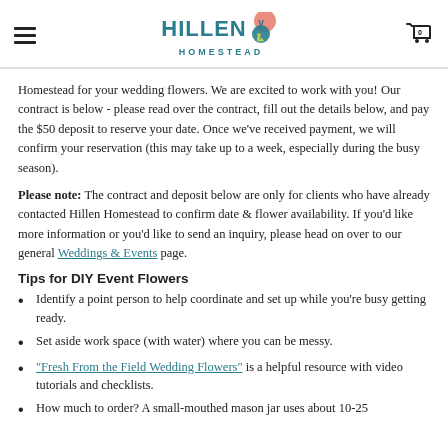Hillen Homestead [logo] 0 [cart]
Homestead for your wedding flowers. We are excited to work with you! Our contract is below - please read over the contract, fill out the details below, and pay the $50 deposit to reserve your date. Once we've received payment, we will confirm your reservation (this may take up to a week, especially during the busy season).
Please note: The contract and deposit below are only for clients who have already contacted Hillen Homestead to confirm date & flower availability. If you'd like more information or you'd like to send an inquiry, please head on over to our general Weddings & Events page.
Tips for DIY Event Flowers
Identify a point person to help coordinate and set up while you're busy getting ready.
Set aside work space (with water) where you can be messy.
"Fresh From the Field Wedding Flowers" is a helpful resource with video tutorials and checklists.
How much to order? A small-mouthed mason jar uses about 10-25